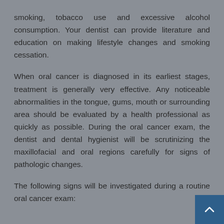smoking, tobacco use and excessive alcohol consumption. Your dentist can provide literature and education on making lifestyle changes and smoking cessation.
When oral cancer is diagnosed in its earliest stages, treatment is generally very effective. Any noticeable abnormalities in the tongue, gums, mouth or surrounding area should be evaluated by a health professional as quickly as possible. During the oral cancer exam, the dentist and dental hygienist will be scrutinizing the maxillofacial and oral regions carefully for signs of pathologic changes.
The following signs will be investigated during a routine oral cancer exam: